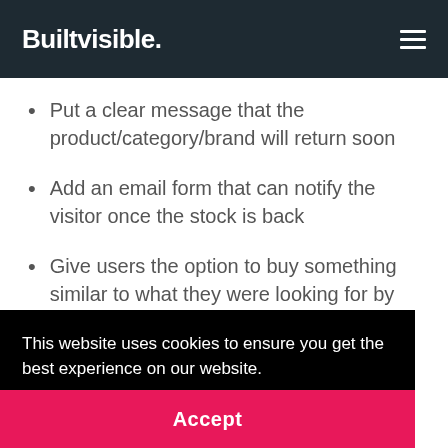Builtvisible.
Put a clear message that the product/category/brand will return soon
Add an email form that can notify the visitor once the stock is back
Give users the option to buy something similar to what they were looking for by recommending
This website uses cookies to ensure you get the best experience on our website. Privacy Policy
Accept
but will be able to click on the link, if desired, to see